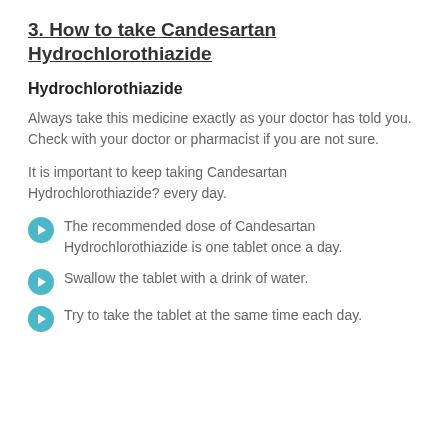3. How to take Candesartan Hydrochlorothiazide
Hydrochlorothiazide
Always take this medicine exactly as your doctor has told you. Check with your doctor or pharmacist if you are not sure.
It is important to keep taking Candesartan Hydrochlorothiazide? every day.
The recommended dose of Candesartan Hydrochlorothiazide is one tablet once a day.
Swallow the tablet with a drink of water.
Try to take the tablet at the same time each day.